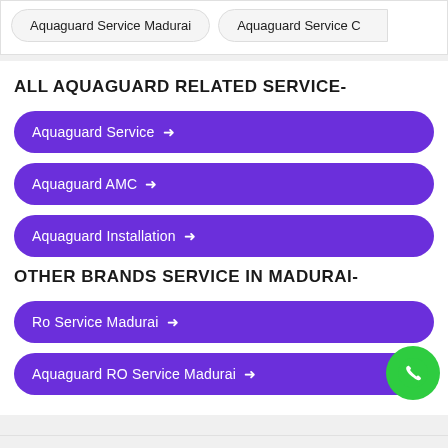Aquaguard Service Madurai
Aquaguard Service C…
ALL AQUAGUARD RELATED SERVICE-
Aquaguard Service →
Aquaguard AMC →
Aquaguard Installation →
OTHER BRANDS SERVICE IN MADURAI-
Ro Service Madurai →
Aquaguard RO Service Madurai →